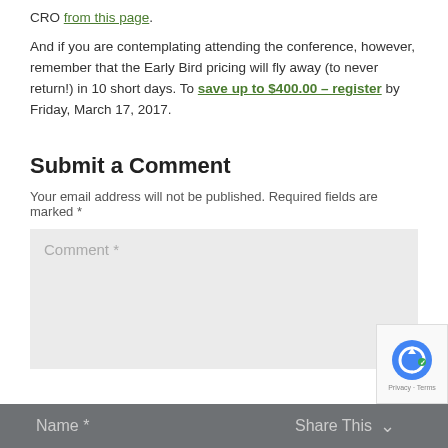CRO from this page. And if you are contemplating attending the conference, however, remember that the Early Bird pricing will fly away (to never return!) in 10 short days. To save up to $400.00 – register by Friday, March 17, 2017.
Submit a Comment
Your email address will not be published. Required fields are marked *
[Figure (screenshot): Comment text area input box with placeholder text 'Comment *']
[Figure (screenshot): reCAPTCHA badge with Privacy and Terms links]
Name *
Share This ∨